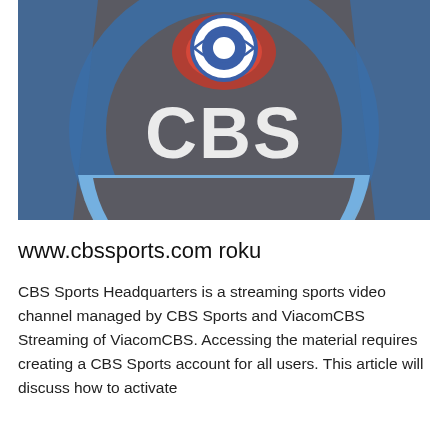[Figure (logo): CBS Sports logo on dark gray background. Large blue circular ring with a lighter blue arc at the bottom. Center top shows the CBS eye logo (white circle with blue eye shape, surrounded by red and blue concentric arcs). Large white 3D text 'CBS' in the lower center of the image.]
www.cbssports.com roku
CBS Sports Headquarters is a streaming sports video channel managed by CBS Sports and ViacomCBS Streaming of ViacomCBS. Accessing the material requires creating a CBS Sports account for all users. This article will discuss how to activate